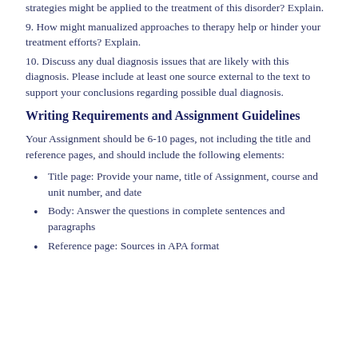strategies might be applied to the treatment of this disorder? Explain.
9. How might manualized approaches to therapy help or hinder your treatment efforts? Explain.
10. Discuss any dual diagnosis issues that are likely with this diagnosis. Please include at least one source external to the text to support your conclusions regarding possible dual diagnosis.
Writing Requirements and Assignment Guidelines
Your Assignment should be 6-10 pages, not including the title and reference pages, and should include the following elements:
Title page: Provide your name, title of Assignment, course and unit number, and date
Body: Answer the questions in complete sentences and paragraphs
Reference page: Sources in APA format